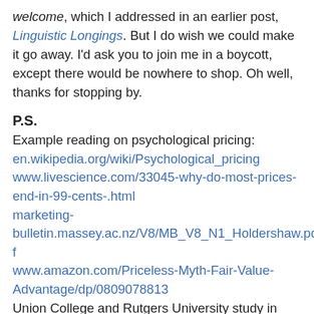welcome, which I addressed in an earlier post, Linguistic Longings. But I do wish we could make it go away. I'd ask you to join me in a boycott, except there would be nowhere to shop. Oh well, thanks for stopping by.
P.S.
Example reading on psychological pricing: en.wikipedia.org/wiki/Psychological_pricing www.livescience.com/33045-why-do-most-prices-end-in-99-cents-.html marketing-bulletin.massey.ac.nz/V8/MB_V8_N1_Holdershaw.pdf www.amazon.com/Priceless-Myth-Fair-Value-Advantage/dp/0809078813 Union College and Rutgers University study in Psychology and Marketing journal: onlinelibrary.wiley.com/doi/10.1002/mar.20084/abstra